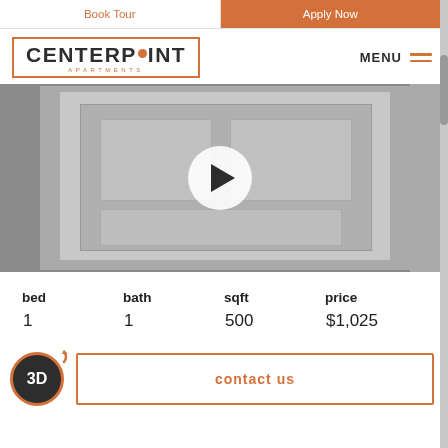Book Tour | Apply Now
[Figure (logo): Centerpoint Apartments logo in orange border box]
MENU
[Figure (screenshot): Apartment floor plan image with play button overlay, shown in grayscale]
| bed | bath | sqft | price |
| --- | --- | --- | --- |
| 1 | 1 | 500 | $1,025 |
[Figure (other): 3D circular badge icon with orange ring and arrow]
contact us